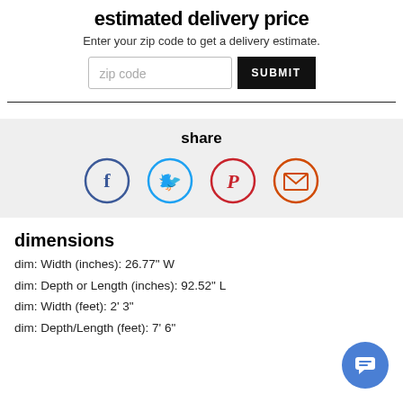estimated delivery price
Enter your zip code to get a delivery estimate.
zip code  SUBMIT
share
[Figure (infographic): Four social share icons in circles: Facebook (dark blue), Twitter (light blue), Pinterest (red), Email (red/orange)]
dimensions
dim: Width (inches): 26.77" W
dim: Depth or Length (inches): 92.52" L
dim: Width (feet): 2' 3"
dim: Depth/Length (feet): 7' 6"